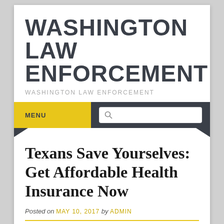WASHINGTON LAW ENFORCEMENT
WASHINGTON LAW ENFORCEMENT
MENU
Texans Save Yourselves: Get Affordable Health Insurance Now
Posted on MAY 10, 2017 by ADMIN
Even Superman should have health insurance.